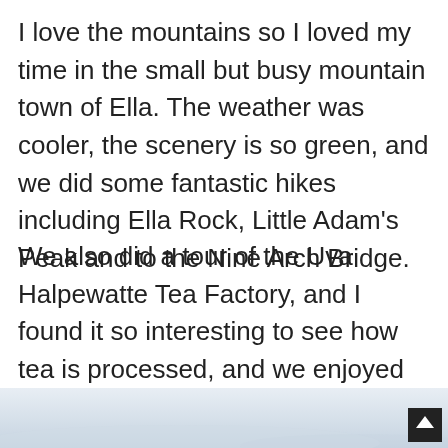I love the mountains so I loved my time in the small but busy mountain town of Ella. The weather was cooler, the scenery is so green, and we did some fantastic hikes including Ella Rock, Little Adam’s Peak and to the Nine Arch Bridge.
We also did a tour of the Uva Halpewatte Tea Factory, and I found it so interesting to see how tea is processed, and we enjoyed every amazing meal we had at Cafe Chill (there were a lot!) Ella may be more commercial than it was a few years ago, but I still think it has a lot of charm.
[Figure (photo): Bottom strip showing a faint landscape photo with sky and hills, partially visible at the bottom of the page.]